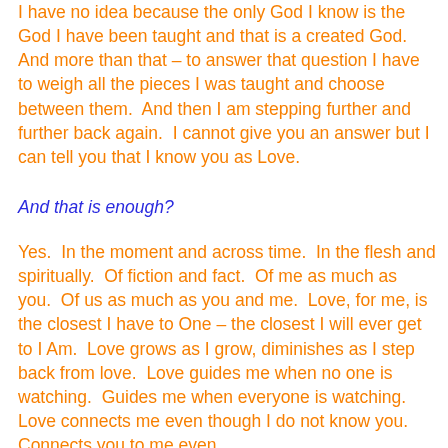I have no idea because the only God I know is the God I have been taught and that is a created God.  And more than that – to answer that question I have to weigh all the pieces I was taught and choose between them.  And then I am stepping further and further back again.  I cannot give you an answer but I can tell you that I know you as Love.
And that is enough?
Yes.  In the moment and across time.  In the flesh and spiritually.  Of fiction and fact.  Of me as much as you.  Of us as much as you and me.  Love, for me, is the closest I have to One – the closest I will ever get to I Am.  Love grows as I grow, diminishes as I step back from love.  Love guides me when no one is watching.  Guides me when everyone is watching.  Love connects me even though I do not know you.   Connects you to me even